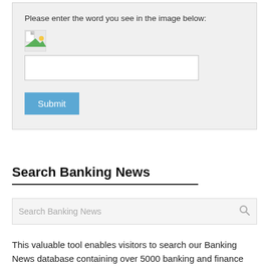Please enter the word you see in the image below:
[Figure (screenshot): Broken CAPTCHA image placeholder icon (small image with broken link symbol)]
Submit
Search Banking News
Search Banking News
This valuable tool enables visitors to search our Banking News database containing over 5000 banking and finance articles dating back several years. Look up past news stories from Banking News. Find the article you seek by simply typing the name of the company,